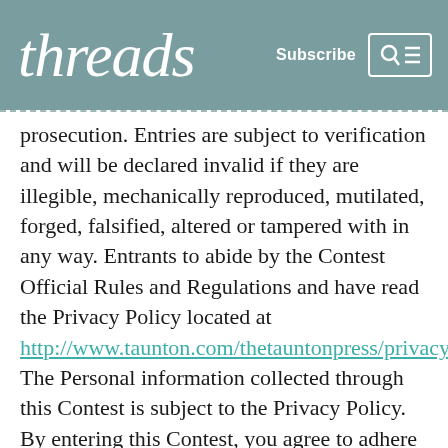threads | Subscribe
prosecution. Entries are subject to verification and will be declared invalid if they are illegible, mechanically reproduced, mutilated, forged, falsified, altered or tampered with in any way. Entrants to abide by the Contest Official Rules and Regulations and have read the Privacy Policy located at http://www.taunton.com/thetauntonpress/privacy.asp The Personal information collected through this Contest is subject to the Privacy Policy. By entering this Contest, you agree to adhere to the terms, policies, and guidelines described in the above Terms of Use. Decisions of the judging panel are final.
PRIZE/VALUE: